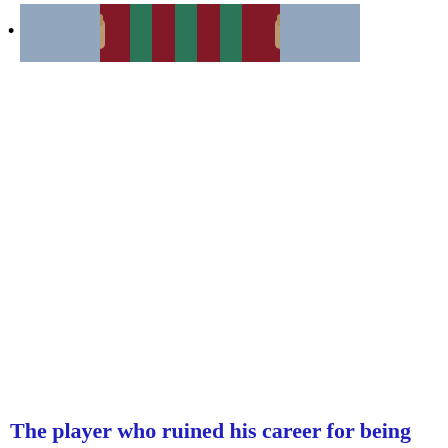[Figure (photo): A soccer/football player in a maroon and teal/green striped jersey celebrating with fists raised, photographed close-up from the torso area.]
The player who ruined his career for being